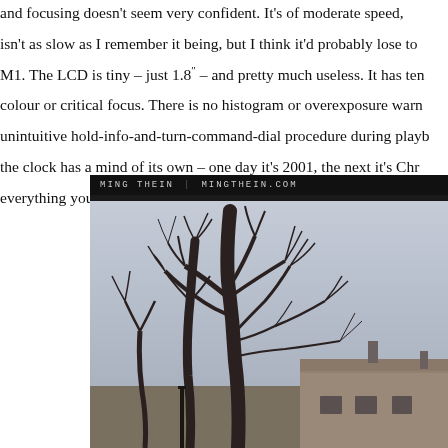and focusing doesn't seem very confident. It's of moderate speed, isn't as slow as I remember it being, but I think it'd probably lose to M1. The LCD is tiny – just 1.8″ – and pretty much useless. It has ten colour or critical focus. There is no histogram or overexposure warn unintuitive hold-info-and-turn-command-dial procedure during playb the clock has a mind of its own – one day it's 2001, the next it's Ch everything you'd need to set, then. In fact, the best way to shoot t
[Figure (photo): Black and white photograph of bare winter trees against a pale grey sky, with a weathered building visible in the lower right. Watermark reads MING THEIN | MINGTHEIN.COM at the top.]